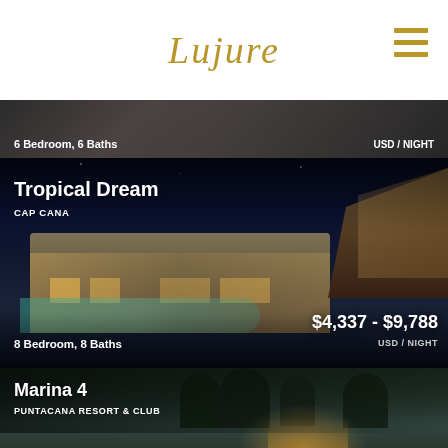Lujure
[Figure (photo): Partially visible luxury villa listing card showing '6 Bedroom, 6 Baths' with price text on right]
[Figure (photo): Luxury villa 'Tropical Dream' in Cap Cana - night photo showing villa with pool, thatched roof structure, blue sky. Price $4,337 - $9,788 USD/NIGHT. 8 Bedroom, 8 Baths.]
[Figure (photo): Luxury villa 'Marina 4' at Puntacana Resort & Club - twilight photo showing villa surrounded by tropical trees with warm lighting.]